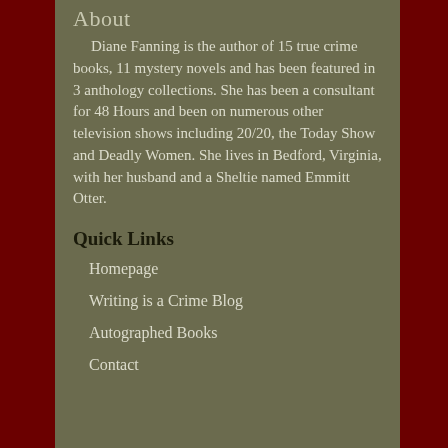About
Diane Fanning is the author of 15 true crime books, 11 mystery novels and has been featured in 3 anthology collections. She has been a consultant for 48 Hours and been on numerous other television shows including 20/20, the Today Show and Deadly Women. She lives in Bedford, Virginia, with her husband and a Sheltie named Emmitt Otter.
Quick Links
Homepage
Writing is a Crime Blog
Autographed Books
Contact